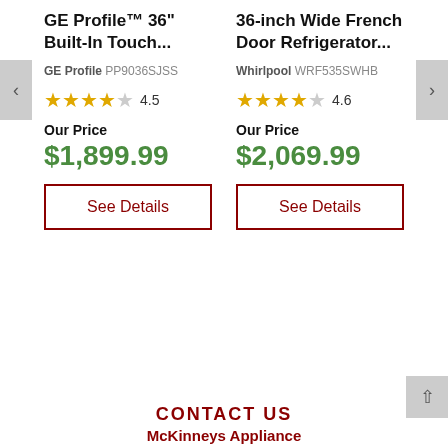GE Profile™ 36" Built-In Touch...
GE Profile PP9036SJSS
★★★★☆ 4.5
Our Price
$1,899.99
See Details
36-inch Wide French Door Refrigerator...
Whirlpool WRF535SWHB
★★★★☆ 4.6
Our Price
$2,069.99
See Details
CONTACT US
McKinneys Appliance